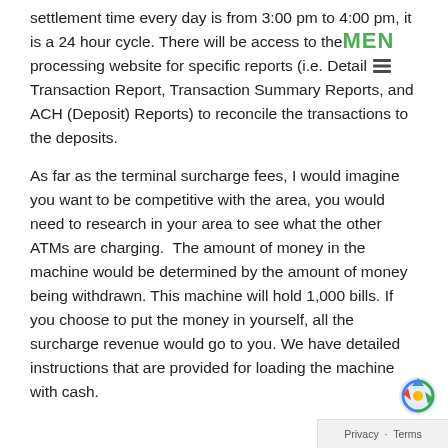settlement time every day is from 3:00 pm to 4:00 pm, it is a 24 hour cycle. There will be access to the processing website for specific reports (i.e. Detail Transaction Report, Transaction Summary Reports, and ACH (Deposit) Reports) to reconcile the transactions to the deposits.
As far as the terminal surcharge fees, I would imagine you want to be competitive with the area, you would need to research in your area to see what the other ATMs are charging. The amount of money in the machine would be determined by the amount of money being withdrawn. This machine will hold 1,000 bills. If you choose to put the money in yourself, all the surcharge revenue would go to you. We have detailed instructions that are provided for loading the machine with cash.